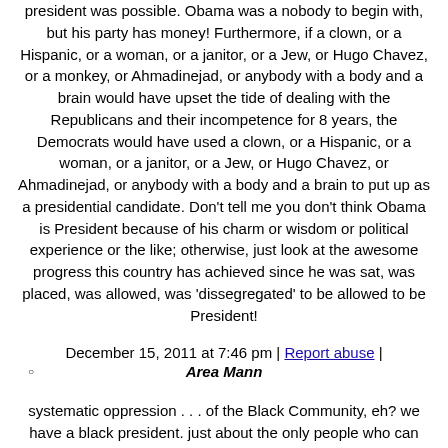president was possible. Obama was a nobody to begin with, but his party has money! Furthermore, if a clown, or a Hispanic, or a woman, or a janitor, or a Jew, or Hugo Chavez, or a monkey, or Ahmadinejad, or anybody with a body and a brain would have upset the tide of dealing with the Republicans and their incompetence for 8 years, the Democrats would have used a clown, or a Hispanic, or a woman, or a janitor, or a Jew, or Hugo Chavez, or Ahmadinejad, or anybody with a body and a brain to put up as a presidential candidate. Don't tell me you don't think Obama is President because of his charm or wisdom or political experience or the like; otherwise, just look at the awesome progress this country has achieved since he was sat, was placed, was allowed, was 'dissegregated' to be allowed to be President!
December 15, 2011 at 7:46 pm | Report abuse |
Area Mann
systematic oppression . . . of the Black Community, eh? we have a black president. just about the only people who can get promoted in corporate america